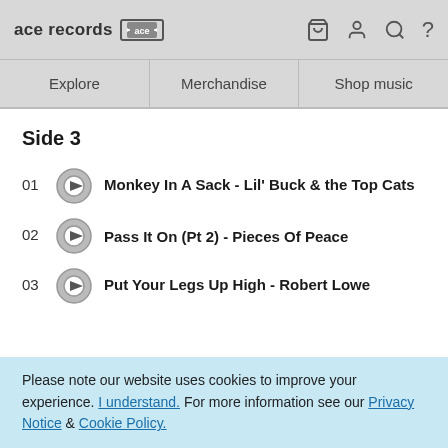ace records [ace logo] — icons: basket, user, search, help
Explore | Merchandise | Shop music
Side 3
01 — Monkey In A Sack - Lil' Buck & the Top Cats
02 — Pass It On (Pt 2) - Pieces Of Peace
03 — Put Your Legs Up High - Robert Lowe
Please note our website uses cookies to improve your experience. I understand. For more information see our Privacy Notice & Cookie Policy.